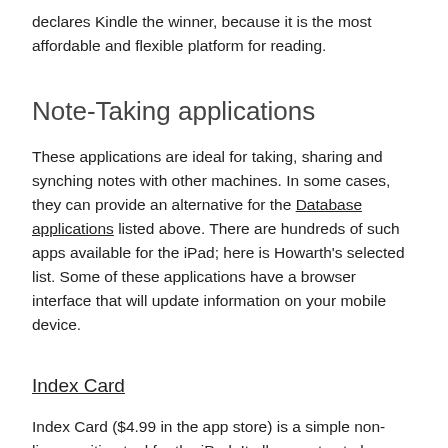declares Kindle the winner, because it is the most affordable and flexible platform for reading.
Note-Taking applications
These applications are ideal for taking, sharing and synching notes with other machines. In some cases, they can provide an alternative for the Database applications listed above. There are hundreds of such apps available for the iPad; here is Howarth's selected list. Some of these applications have a browser interface that will update information on your mobile device.
Index Card
Index Card ($4.99 in the app store) is a simple non-linear writing tool for the iPad. It allows notes to be captured in